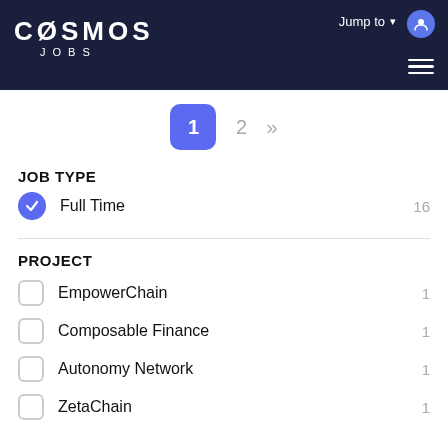COSMOS JOBS — Jump to
1  2  »
JOB TYPE
Full Time  16
PROJECT
EmpowerChain  1
Composable Finance  1
Autonomy Network  1
ZetaChain  1